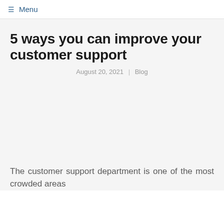≡ Menu
5 ways you can improve your customer support
August 20, 2021  |  Blog
The customer support department is one of the most crowded areas